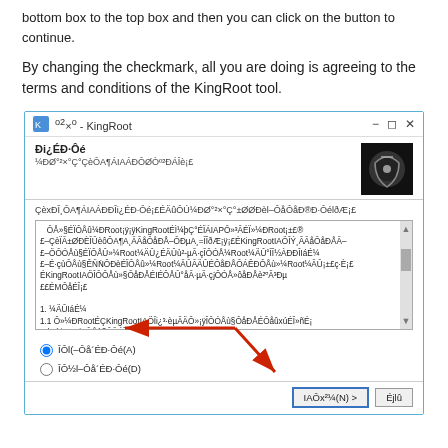bottom box to the top box and then you can click on the button to continue.
By changing the checkmark, all you are doing is agreeing to the terms and conditions of the KingRoot tool.
[Figure (screenshot): Screenshot of KingRoot installation wizard window showing garbled/encoded Chinese text for license agreement, with radio buttons for accept/decline options, and Next/Cancel buttons. A red arrow points to the accept radio button and to the Next button.]